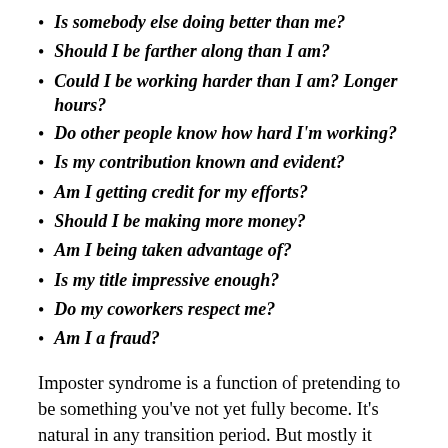Is somebody else doing better than me?
Should I be farther along than I am?
Could I be working harder than I am? Longer hours?
Do other people know how hard I'm working?
Is my contribution known and evident?
Am I getting credit for my efforts?
Should I be making more money?
Am I being taken advantage of?
Is my title impressive enough?
Do my coworkers respect me?
Am I a fraud?
Imposter syndrome is a function of pretending to be something you’ve not yet fully become. It’s natural in any transition period. But mostly it’s not